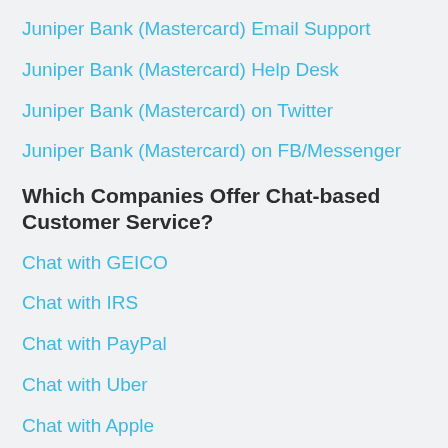Juniper Bank (Mastercard) Email Support
Juniper Bank (Mastercard) Help Desk
Juniper Bank (Mastercard) on Twitter
Juniper Bank (Mastercard) on FB/Messenger
Which Companies Offer Chat-based Customer Service?
Chat with GEICO
Chat with IRS
Chat with PayPal
Chat with Uber
Chat with Apple
Chat with SunTrust Bank